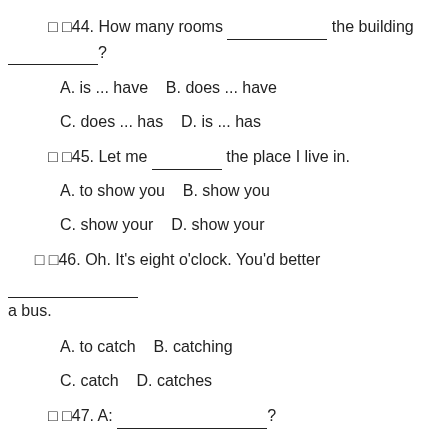□ □44. How many rooms _________ the building _________?
A. is ... have B. does ... have
C. does ... has D. is ... has
□ □45. Let me _________ the place I live in.
A. to show you B. show you
C. show your D. show your
□ □46. Oh. It's eight o'clock. You'd better _________ a bus.
A. to catch B. catching
C. catch D. catches
□ □47. A: _________________ ?